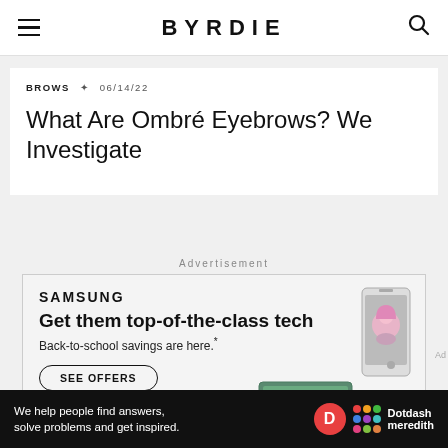BYRDIE
BROWS • 06/14/22
What Are Ombré Eyebrows? We Investigate
Advertisement
[Figure (other): Samsung advertisement: 'Get them top-of-the-class tech. Back-to-school savings are here.' with SEE OFFERS button and Samsung Galaxy device images.]
Ad
We help people find answers, solve problems and get inspired. Dotdash meredith